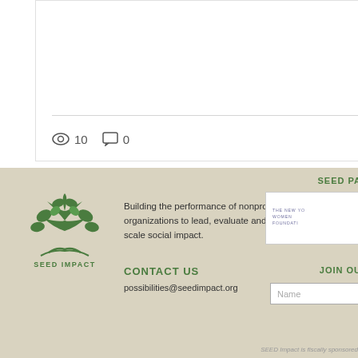[Figure (screenshot): Blog post card showing view count 10, comment count 0, and a heart/like icon in red]
[Figure (screenshot): Partial blog post card showing view count 17 and comment icon]
[Figure (logo): SEED IMPACT logo with green tree graphic and text SEED IMPACT]
Building the performance of nonprofit organizations to lead, evaluate and scale social impact.
SEED PA...
[Figure (logo): The New York Women's Foundation logo]
CONTACT US
possibilities@seedimpact.org
JOIN OU...
Name
SEED Impact is fiscally sponsored